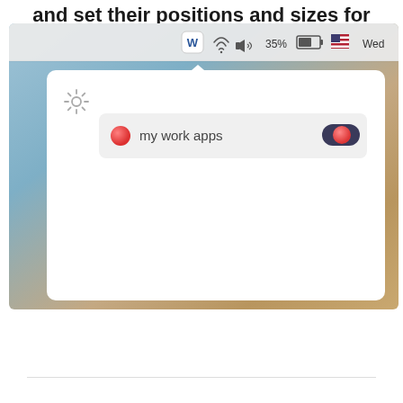and set their positions and sizes for you.
[Figure (screenshot): macOS screenshot showing a menu bar with Word icon, WiFi, volume, 35% battery, US flag, and 'Wed' text. Below is a popup panel with a gear icon and a row showing 'my work apps' with a red dot on the left and a dark toggle switch with red knob on the right, set against a desert macOS desktop background.]